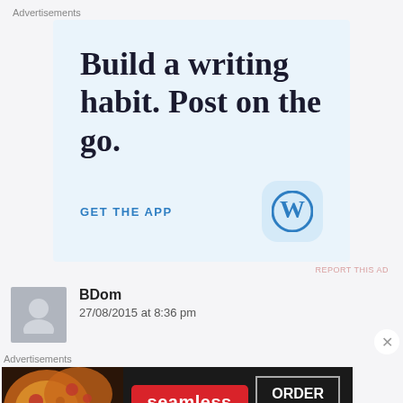Advertisements
[Figure (screenshot): WordPress app advertisement with light blue background. Large serif text reads 'Build a writing habit. Post on the go.' with a 'GET THE APP' link in blue uppercase letters and the WordPress 'W' logo icon in a rounded square.]
REPORT THIS AD
BDom
27/08/2015 at 8:36 pm
Advertisements
[Figure (screenshot): Seamless food delivery advertisement. Dark background with pizza image on left, Seamless red logo in center, and 'ORDER NOW' button in white text with border on right.]